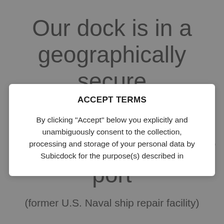Our dock is in a geographically secure
naturally deep water port
(former U.S. Naval ship repair facility)
ACCEPT TERMS
By clicking "Accept" below you explicitly and unambiguously consent to the collection, processing and storage of your personal data by Subicdock for the purpose(s) described in